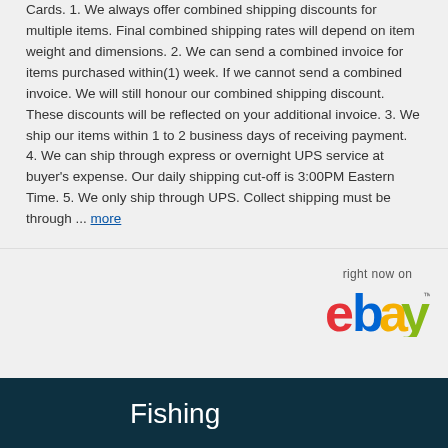Cards. 1. We always offer combined shipping discounts for multiple items. Final combined shipping rates will depend on item weight and dimensions. 2. We can send a combined invoice for items purchased within(1) week. If we cannot send a combined invoice. We will still honour our combined shipping discount. These discounts will be reflected on your additional invoice. 3. We ship our items within 1 to 2 business days of receiving payment. 4. We can ship through express or overnight UPS service at buyer's expense. Our daily shipping cut-off is 3:00PM Eastern Time. 5. We only ship through UPS. Collect shipping must be through ... more
[Figure (logo): eBay logo with 'right now on' text above it]
Fishing
Destinations
River and Lake Reports
Guided Trips